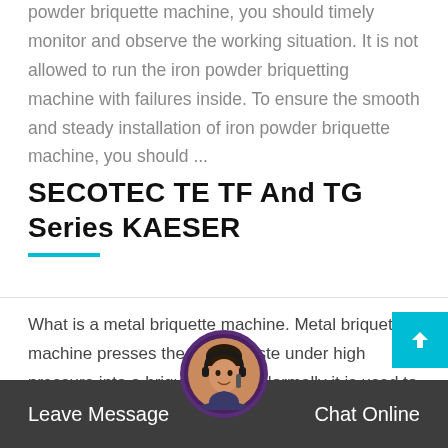powder briquette machine, you should timely monitor and observe the working situation. It is not allowed to run the iron powder briquetting machine with failures inside. To ensure the smooth and steady installation of iron powder briquette machine, you should ...
SECOTEC TE TF And TG Series KAESER
What is a metal briquette machine. Metal briquette machine presses the metal waste under high pressure into a briquette form. Normally it is used to reduce the storage cost as well as the conversion ratio in the furnace for metal recycling. The stu... shows the energy cost... metal from metal re... –90... ing ra... lso,